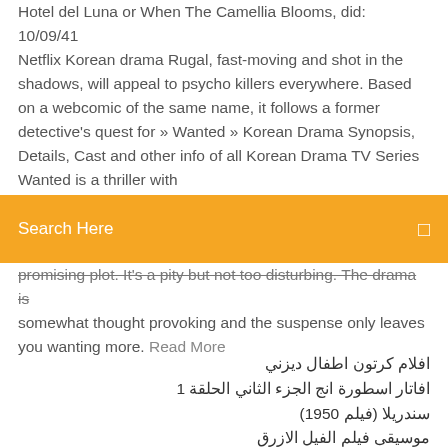Hotel del Luna or When The Camellia Blooms, did: 10/09/41 Netflix Korean drama Rugal, fast-moving and shot in the shadows, will appeal to psycho killers everywhere. Based on a webcomic of the same name, it follows a former detective's quest for » Wanted » Korean Drama Synopsis, Details, Cast and other info of all Korean Drama TV Series Wanted is a thriller with
[Figure (screenshot): Orange search bar with text 'Search Here' and a search icon on the right]
promising plot. It's a pity but not too disturbing. The drama is somewhat thought provoking and the suspense only leaves you wanting more. Read More
افلام كرتون اطفال ديزني
افاتار اسطورة انج الجزء الثاني الحلقة 1
سندريلا (فيلم 1950)
موسيقى فيلم الفيل الازرق
Bridges of madison county movie
ابطال الديجيتال الجزء الاول
Rick and morty season 2 episode 4